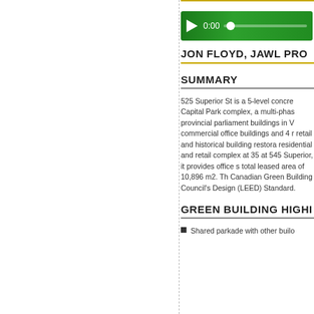[Figure (screenshot): Audio player with green background, play button, timestamp 0:00 and progress bar]
JON FLOYD, JAWL PRO
SUMMARY
525 Superior St is a 5-level concre Capital Park complex, a multi-phas provincial parliament buildings in V commercial office buildings and 4 r retail and historical building restora residential and retail complex at 35 at 545 Superior, it provides office s total leased area of 10,896 m2. Th Canadian Green Building Council's Design (LEED) Standard.
GREEN BUILDING HIGHI
Shared parkade with other builo